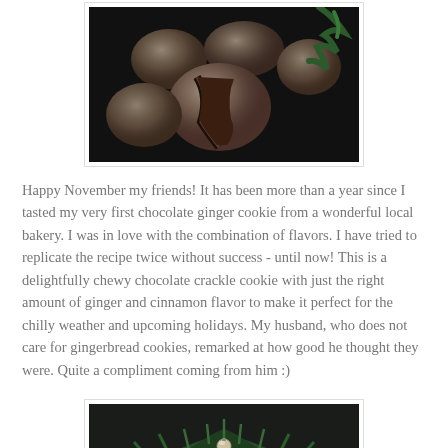[Figure (photo): Overhead dark-background photo of chocolate crackle cookies dusted with powdered sugar, one broken open showing dark chocolate interior]
Happy November my friends!  It has been more than a year since I tasted my very first chocolate ginger cookie from a wonderful local bakery.  I was in love with the combination of flavors. I have tried to replicate the recipe twice without success - until now!  This is a delightfully chewy chocolate crackle cookie with just the right amount of ginger and cinnamon flavor to make it perfect for the chilly weather and upcoming holidays.  My husband, who does not care for gingerbread cookies, remarked at how good he thought they were.  Quite a compliment coming from him :)
[Figure (photo): Dark background photo with pine/evergreen branches and a small ornament ball]